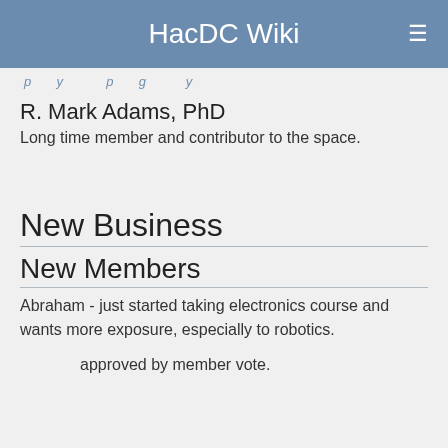HacDC Wiki
…p…y…p…g…y…
R. Mark Adams, PhD
Long time member and contributor to the space.
New Business
New Members
Abraham - just started taking electronics course and wants more exposure, especially to robotics.
approved by member vote.